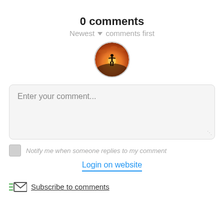0 comments
Newest ▼ comments first
[Figure (photo): Circular avatar image showing a silhouette of a person standing against a dramatic orange/yellow sunset sky]
Enter your comment...
Notify me when someone replies to my comment
Login on website
Subscribe to comments